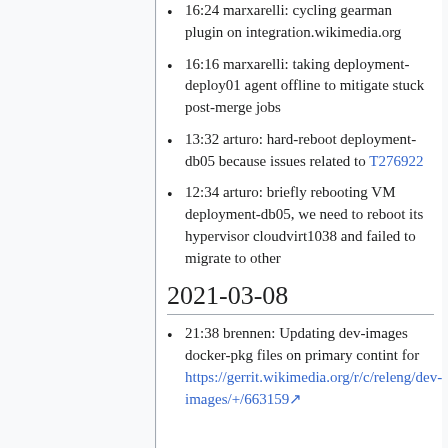16:24 marxarelli: cycling gearman plugin on integration.wikimedia.org
16:16 marxarelli: taking deployment-deploy01 agent offline to mitigate stuck post-merge jobs
13:32 arturo: hard-reboot deployment-db05 because issues related to T276922
12:34 arturo: briefly rebooting VM deployment-db05, we need to reboot its hypervisor cloudvirt1038 and failed to migrate to other
2021-03-08
21:38 brennen: Updating dev-images docker-pkg files on primary contint for https://gerrit.wikimedia.org/r/c/releng/dev-images/+/663159